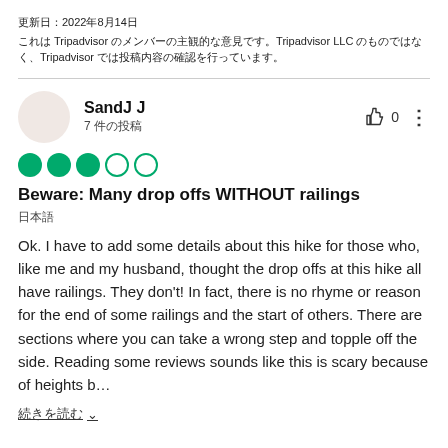更新日：2022年8月14日
これは Tripadvisor のメンバーの主観的な意見です。Tripadvisor LLC のものではなく、Tripadvisor では投稿内容の確認を行っています。
SandJ J
7 件の投稿
0
Beware: Many drop offs WITHOUT railings
日本語
Ok. I have to add some details about this hike for those who, like me and my husband, thought the drop offs at this hike all have railings. They don't! In fact, there is no rhyme or reason for the end of some railings and the start of others. There are sections where you can take a wrong step and topple off the side. Reading some reviews sounds like this is scary because of heights b…
続きを読む